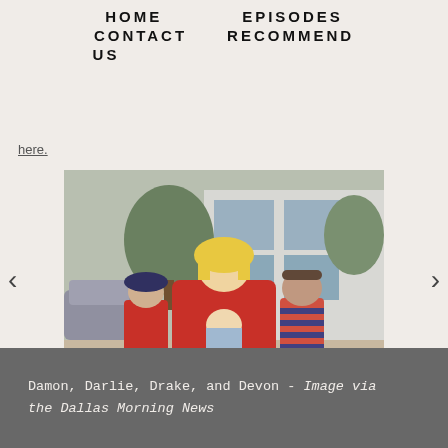HOME    EPISODES
CONTACT US    RECOMMEND
here.
[Figure (photo): A woman with blonde hair wearing a red top sits holding a baby, surrounded by two young boys. They are posed in front of a building exterior with trees visible in the background. A car is partially visible on the left.]
Damon, Darlie, Drake, and Devon - Image via the Dallas Morning News